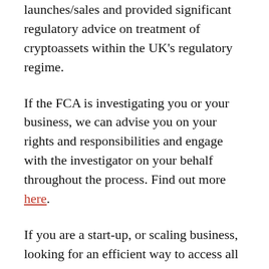launches/sales and provided significant regulatory advice on treatment of cryptoassets within the UK's regulatory regime.
If the FCA is investigating you or your business, we can advise you on your rights and responsibilities and engage with the investigator on your behalf throughout the process. Find out more here.
If you are a start-up, or scaling business, looking for an efficient way to access all the commercial legal advice you need, quickly and without fuss, Capitalise might be the best option for you; akin to an outsourced